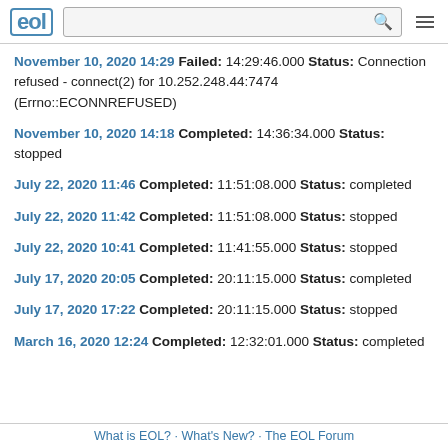EOL [logo] [search box] [menu icon]
November 10, 2020 14:29 Failed: 14:29:46.000 Status: Connection refused - connect(2) for 10.252.248.44:7474 (Errno::ECONNREFUSED)
November 10, 2020 14:18 Completed: 14:36:34.000 Status: stopped
July 22, 2020 11:46 Completed: 11:51:08.000 Status: completed
July 22, 2020 11:42 Completed: 11:51:08.000 Status: stopped
July 22, 2020 10:41 Completed: 11:41:55.000 Status: stopped
July 17, 2020 20:05 Completed: 20:11:15.000 Status: completed
July 17, 2020 17:22 Completed: 20:11:15.000 Status: stopped
March 16, 2020 12:24 Completed: 12:32:01.000 Status: completed
What is EOL? · What's New? · The EOL Forum